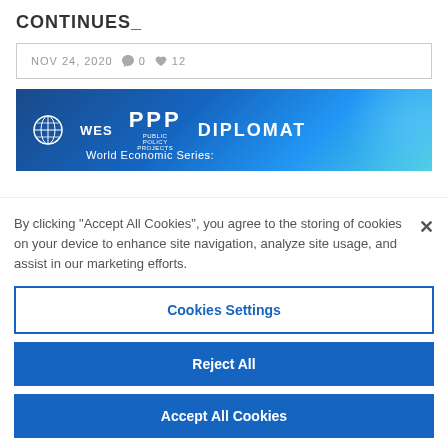CONTINUES_
NOV 24, 2020  💬 0  ♥ 12
[Figure (illustration): WES PPP Diplomat World Economic Series banner image with blue gradient background and logos]
By clicking "Accept All Cookies", you agree to the storing of cookies on your device to enhance site navigation, analyze site usage, and assist in our marketing efforts.
Cookies Settings
Reject All
Accept All Cookies